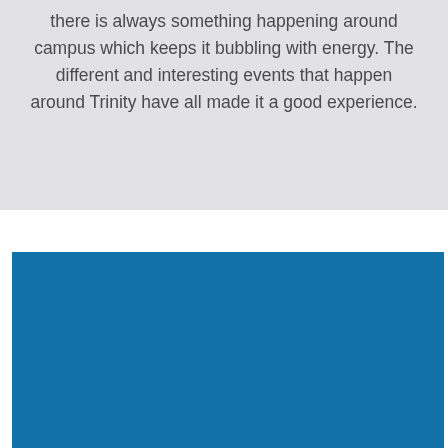there is always something happening around campus which keeps it bubbling with energy. The different and interesting events that happen around Trinity have all made it a good experience.
[Figure (photo): A solid blue rectangular block, representing a photo placeholder or image with a medium blue (#1172a8) fill.]